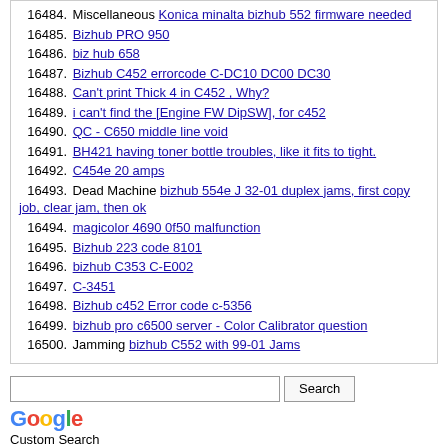16484. Miscellaneous Konica minalta bizhub 552 firmware needed
16485. Bizhub PRO 950
16486. biz hub 658
16487. Bizhub C452 errorcode C-DC10 DC00 DC30
16488. Can't print Thick 4 in C452 , Why?
16489. i can't find the [Engine FW DipSW], for c452
16490. QC - C650 middle line void
16491. BH421 having toner bottle troubles, like it fits to tight.
16492. C454e 20 amps
16493. Dead Machine bizhub 554e J 32-01 duplex jams, first copy job, clear jam, then ok
16494. magicolor 4690 0f50 malfunction
16495. Bizhub 223 code 8101
16496. bizhub C353 C-E002
16497. C-3451
16498. Bizhub c452 Error code c-5356
16499. bizhub pro c6500 server - Color Calibrator question
16500. Jamming bizhub C552 with 99-01 Jams
Search
Google Custom Search
Powered by vBulletin® Version 4.2.5 Copyright © 2022 vBulletin Solutions Inc. All rights reserved.